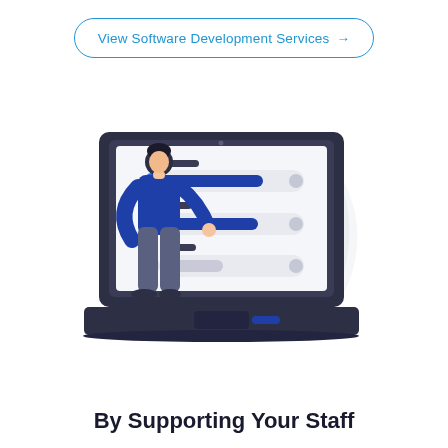View Software Development Services →
[Figure (illustration): Illustration of a person standing in front of a large laptop screen displaying a checklist/task management interface with blue checkmarks and progress bars. A decorative leaf/wing shape appears behind the laptop.]
By Supporting Your Staff